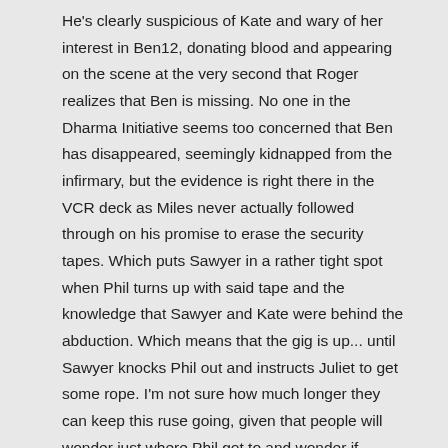He's clearly suspicious of Kate and wary of her interest in Ben12, donating blood and appearing on the scene at the very second that Roger realizes that Ben is missing. No one in the Dharma Initiative seems too concerned that Ben has disappeared, seemingly kidnapped from the infirmary, but the evidence is right there in the VCR deck as Miles never actually followed through on his promise to erase the security tapes. Which puts Sawyer in a rather tight spot when Phil turns up with said tape and the knowledge that Sawyer and Kate were behind the abduction. Which means that the gig is up... until Sawyer knocks Phil out and instructs Juliet to get some rope. I'm not sure how much longer they can keep this ruse going, given that people will wonder just where Phil got to and wonder if there's any relevance to Ben's disappearance as well. Which is just as good that Faraday has turned up at just the right moment as they need an exit strategy from 1977 fast.